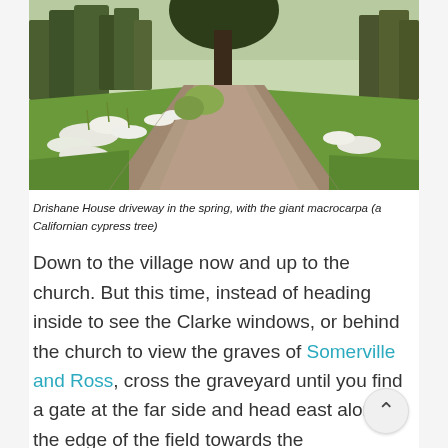[Figure (photo): Drishane House driveway in the spring showing a gravel path flanked by white daffodils, green lawns, bare trees including a large macrocarpa Californian cypress tree in the background]
Drishane House driveway in the spring, with the giant macrocarpa (a Californian cypress tree)
Down to the village now and up to the church. But this time, instead of heading inside to see the Clarke windows, or behind the church to view the graves of Somerville and Ross, cross the graveyard until you find a gate at the far side and head east along the edge of the field towards the